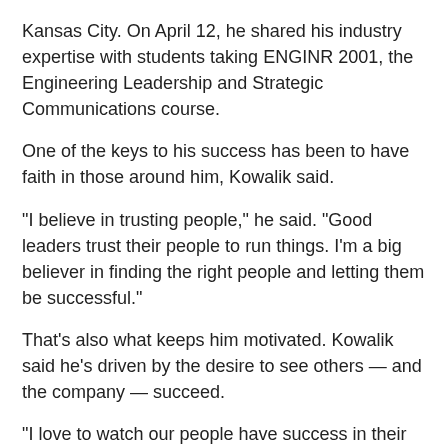Kansas City. On April 12, he shared his industry expertise with students taking ENGINR 2001, the Engineering Leadership and Strategic Communications course.
One of the keys to his success has been to have faith in those around him, Kowalik said.
“I believe in trusting people,” he said. “Good leaders trust their people to run things. I’m a big believer in finding the right people and letting them be successful.”
That’s also what keeps him motivated. Kowalik said he’s driven by the desire to see others — and the company — succeed.
“I love to watch our people have success in their careers and to create an environment where all employee-owners can be successful,” he said.